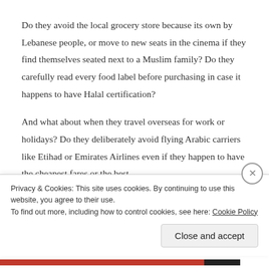Do they avoid the local grocery store because its own by Lebanese people, or move to new seats in the cinema if they find themselves seated next to a Muslim family? Do they carefully read every food label before purchasing in case it happens to have Halal certification?
And what about when they travel overseas for work or holidays? Do they deliberately avoid flying Arabic carriers like Etihad or Emirates Airlines even if they happen to have the cheapest fares or the best
Privacy & Cookies: This site uses cookies. By continuing to use this website, you agree to their use.
To find out more, including how to control cookies, see here: Cookie Policy
Close and accept